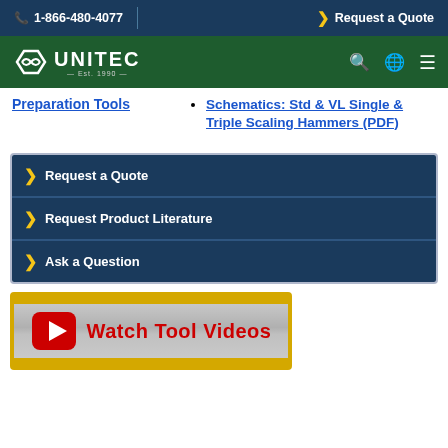1-866-480-4077 | Request a Quote
[Figure (logo): Unitec logo with shield icon, Est. 1990, on green navigation bar with search, globe, and menu icons]
Preparation Tools
Schematics: Std & VL Single & Triple Scaling Hammers (PDF)
Request a Quote
Request Product Literature
Ask a Question
[Figure (infographic): Watch Tool Videos banner with YouTube play button icon and red bold text on silver/gold background]